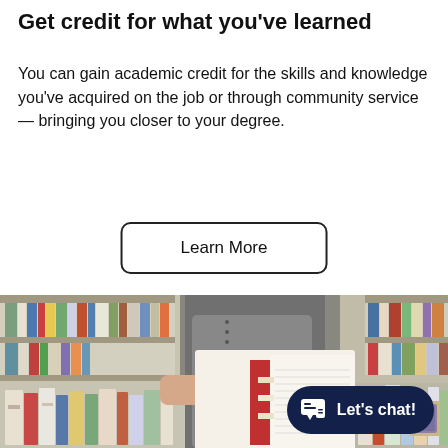Get credit for what you've learned
You can gain academic credit for the skills and knowledge you've acquired on the job or through community service — bringing you closer to your degree.
Learn More
[Figure (photo): A person standing in a library holding an open book, surrounded by shelves and tables full of colorful books.]
Let's chat!